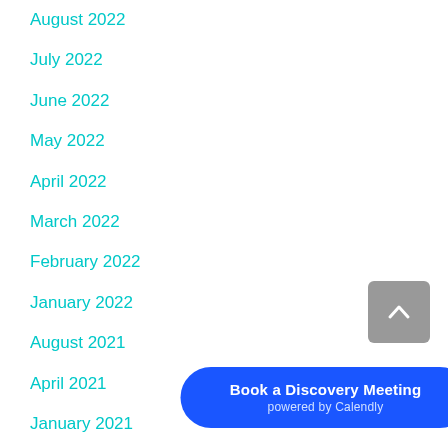August 2022
July 2022
June 2022
May 2022
April 2022
March 2022
February 2022
January 2022
August 2021
April 2021
January 2021
December 2020
November 2020
October 2020
Book a Discovery Meeting
powered by Calendly